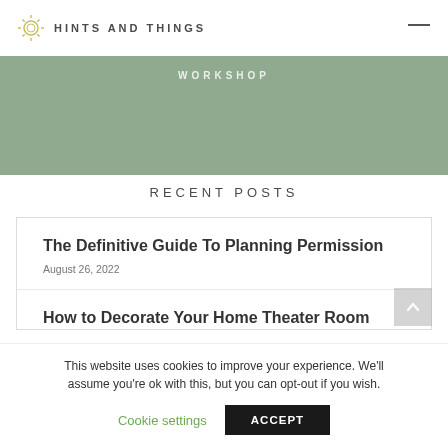HINTS AND THINGS
WORKSHOP
RECENT POSTS
The Definitive Guide To Planning Permission
August 26, 2022
How to Decorate Your Home Theater Room
This website uses cookies to improve your experience. We'll assume you're ok with this, but you can opt-out if you wish.
Cookie settings
ACCEPT